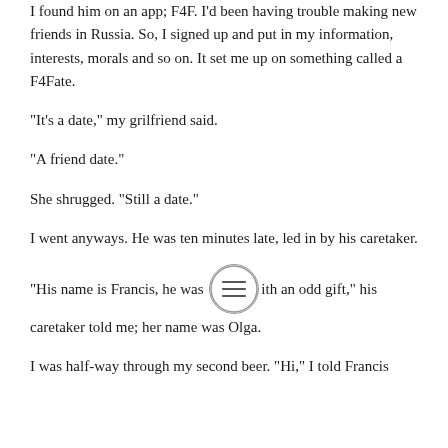I found him on an app; F4F. I'd been having trouble making new friends in Russia. So, I signed up and put in my information, interests, morals and so on. It set me up on something called a F4Fate.
“It’s a date,” my grilfriend said.
“A friend date.”
She shrugged. “Still a date.”
I went anyways. He was ten minutes late, led in by his caretaker.
“His name is Francis, he was [menu icon] ith an odd gift,” his caretaker told me; her name was Olga.
I was half-way through my second beer. “Hi,” I told Francis